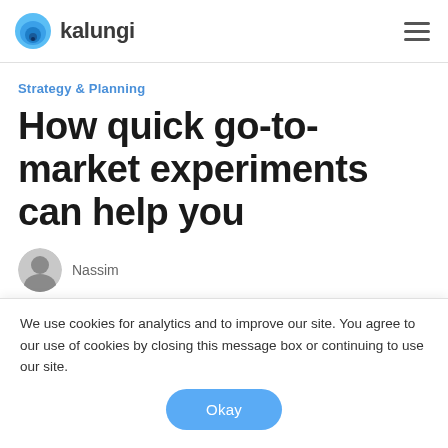kalungi
Strategy & Planning
How quick go-to-market experiments can help you
Nassim
We use cookies for analytics and to improve our site. You agree to our use of cookies by closing this message box or continuing to use our site.
Okay